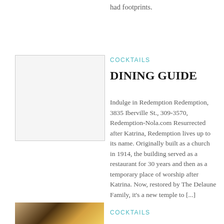had footprints.
[Figure (photo): Photo placeholder, white/light grey rectangle]
COCKTAILS
DINING GUIDE
Indulge in Redemption Redemption, 3835 Iberville St., 309-3570, Redemption-Nola.com Resurrected after Katrina, Redemption lives up to its name. Originally built as a church in 1914, the building served as a restaurant for 30 years and then as a temporary place of worship after Katrina. Now, restored by The Delaune Family, it's a new temple to [...]
[Figure (photo): Color photo at bottom left, showing a cocktail or similar subject with warm golden tones]
COCKTAILS